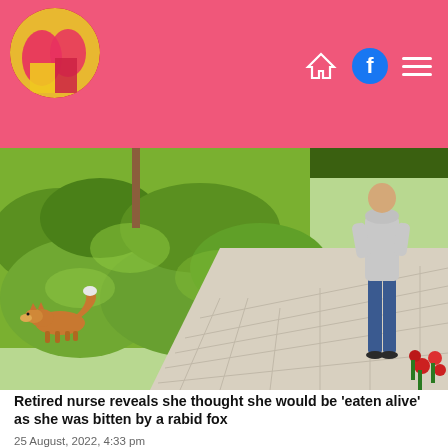[Figure (photo): Outdoor scene showing a fox on a green lawn near a stone pathway, with a person standing on the path wearing a grey hoodie and jeans; red flowers visible in bottom right corner.]
Retired nurse reveals she thought she would be 'eaten alive' as she was bitten by a rabid fox
25 August, 2022, 4:33 pm